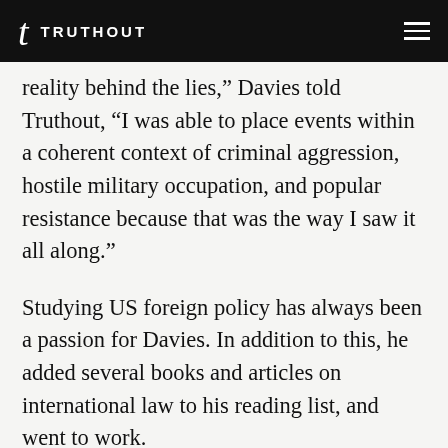t TRUTHOUT
reality behind the lies,” Davies told Truthout, “I was able to place events within a coherent context of criminal aggression, hostile military occupation, and popular resistance because that was the way I saw it all along.”
Studying US foreign policy has always been a passion for Davies. In addition to this, he added several books and articles on international law to his reading list, and went to work.
“A lot of my motivation to spend so much time researching and writing about all this came from